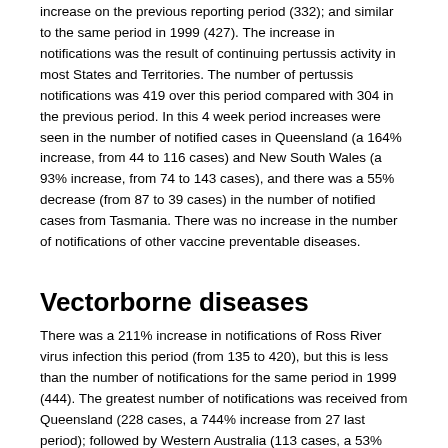increase on the previous reporting period (332); and similar to the same period in 1999 (427). The increase in notifications was the result of continuing pertussis activity in most States and Territories. The number of pertussis notifications was 419 over this period compared with 304 in the previous period. In this 4 week period increases were seen in the number of notified cases in Queensland (a 164% increase, from 44 to 116 cases) and New South Wales (a 93% increase, from 74 to 143 cases), and there was a 55% decrease (from 87 to 39 cases) in the number of notified cases from Tasmania. There was no increase in the number of notifications of other vaccine preventable diseases.
Vectorborne diseases
There was a 211% increase in notifications of Ross River virus infection this period (from 135 to 420), but this is less than the number of notifications for the same period in 1999 (444). The greatest number of notifications was received from Queensland (228 cases, a 744% increase from 27 last period); followed by Western Australia (113 cases, a 53% increase from 74 last period). The number of year to date notifications (442) was similar to last year (454).
A 300% increase in dengue notifications was noted in this reporting period (from 8 to 36 cases). Sixty-nine per cent of cases (25) were from the